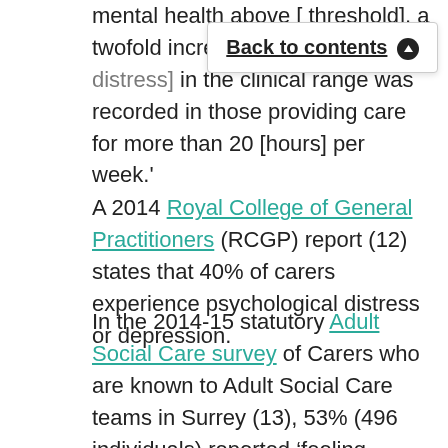mental health above [threshold], a twofold increase in ps[ychological distress] in the clinical range was recorded in those providing care for more than 20 [hours] per week.'
A 2014 Royal College of General Practitioners (RCGP) report (12) states that 40% of carers experience psychological distress or depression.
In the 2014-15 statutory Adult Social Care survey of Carers who are known to Adult Social Care teams in Surrey (13), 53% (496 individuals) reported ‘feeling depressed’. Note that it is estimated in an Office for National Statistics (ONS) Psychiatric Morbidity report (14) that 8-12% of the population experience depression in